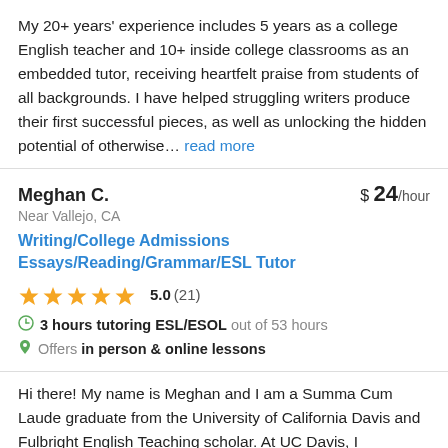My 20+ years' experience includes 5 years as a college English teacher and 10+ inside college classrooms as an embedded tutor, receiving heartfelt praise from students of all backgrounds. I have helped struggling writers produce their first successful pieces, as well as unlocking the hidden potential of otherwise… read more
Meghan C. | $24/hour | Near Vallejo, CA | Writing/College Admissions Essays/Reading/Grammar/ESL Tutor | 5.0 (21) | 3 hours tutoring ESL/ESOL out of 53 hours | Offers in person & online lessons
Hi there! My name is Meghan and I am a Summa Cum Laude graduate from the University of California Davis and Fulbright English Teaching scholar. At UC Davis, I completed a triple major